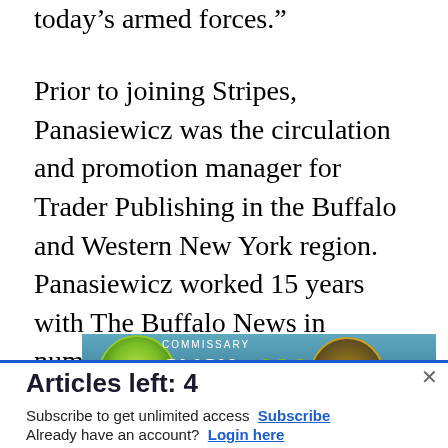today’s armed forces.”
Prior to joining Stripes, Panasiewicz was the circulation and promotion manager for Trader Publishing in the Buffalo and Western New York region. Panasiewicz worked 15 years with The Buffalo News in numerous circulation positions.
[Figure (screenshot): Commissary Click2Go advertisement banner with a green circle logo and Commissary badge on a blue gradient background, with partially visible text 'order groceries | PICKUP']
Articles left: 4
Subscribe to get unlimited access  Subscribe
Already have an account?  Login here